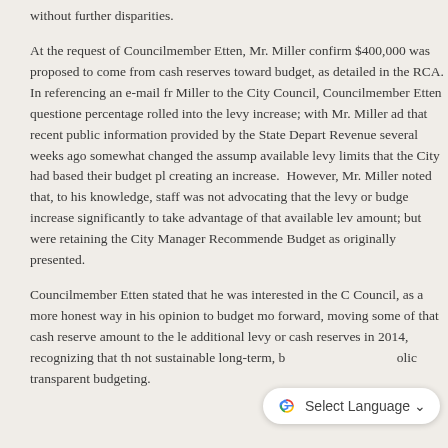without further disparities.
At the request of Councilmember Etten, Mr. Miller confirmed $400,000 was proposed to come from cash reserves toward budget, as detailed in the RCA.  In referencing an e-mail from Miller to the City Council, Councilmember Etten questioned the percentage rolled into the levy increase; with Mr. Miller advising that recent public information provided by the State Department of Revenue several weeks ago somewhat changed the assumptions of available levy limits that the City had based their budget planning, creating an increase.  However, Mr. Miller noted that, to his knowledge, staff was not advocating that the levy or budget increase significantly to take advantage of that available levy amount; but were retaining the City Manager Recommended Budget as originally presented.
Councilmember Etten stated that he was interested in the City Council, as a more honest way in his opinion to budget moving forward, moving some of that cash reserve amount to the levy; additional levy or cash reserves in 2014, recognizing that this is not sustainable long-term, but as a matter of policy and transparent budgeting.